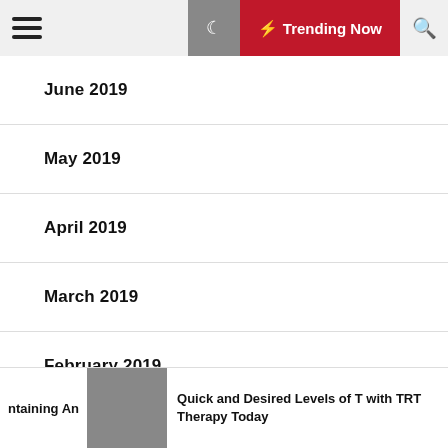Trending Now
June 2019
May 2019
April 2019
March 2019
February 2019
January 2019
November 2018
ntaining An
Quick and Desired Levels of T with TRT Therapy Today